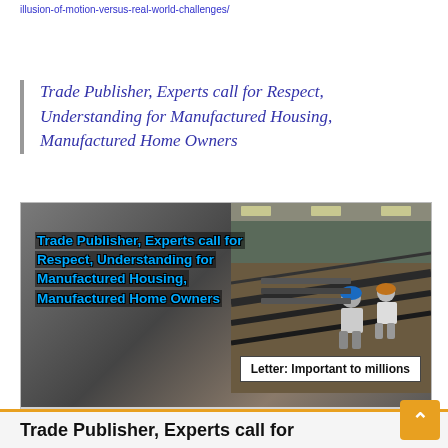illusion-of-motion-versus-real-world-challenges/
Trade Publisher, Experts call for Respect, Understanding for Manufactured Housing, Manufactured Home Owners
[Figure (photo): Photo of workers on a manufactured home roof in a factory setting, overlaid with text 'Trade Publisher, Experts call for Respect, Understanding for Manufactured Housing, Manufactured Home Owners' and a badge reading 'Letter: Important to millions'. Caption text below.]
Trade Publisher, Experts call for